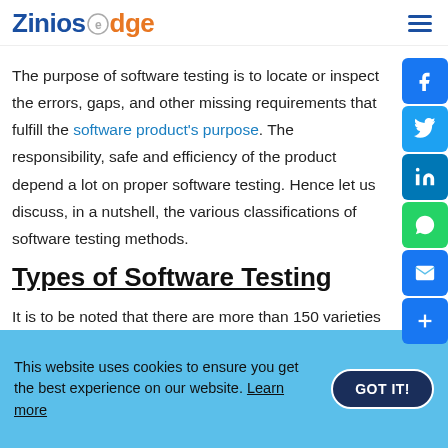Zinios edge
The purpose of software testing is to locate or inspect the errors, gaps, and other missing requirements that fulfill the software product's purpose. The responsibility, safety and efficiency of the product depend a lot on proper software testing. Hence let us discuss, in a nutshell, the various classifications of software testing methods.
Types of Software Testing
It is to be noted that there are more than 150 varieties of software testing types at present. But, remember all
This website uses cookies to ensure you get the best experience on our website. Learn more